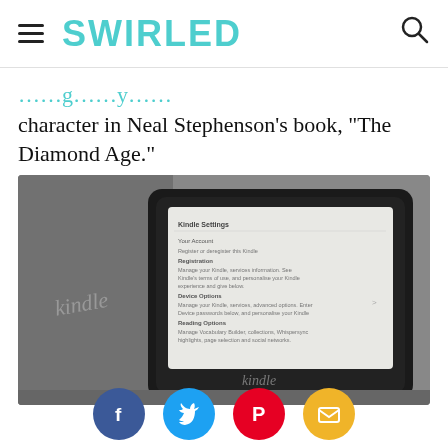SWIRLED
character in Neal Stephenson's book, “The Diamond Age.”
[Figure (photo): Black and white photograph of a Kindle e-reader device open in its book-style case, sitting on a textured surface. The Kindle screen shows a menu/settings page. The word 'kindle' appears on the case spine and on the device bottom bezel.]
[Figure (infographic): Row of four social sharing buttons: Facebook (blue circle with f), Twitter (light blue circle with bird), Pinterest (red circle with P), Email (yellow/orange circle with envelope icon).]